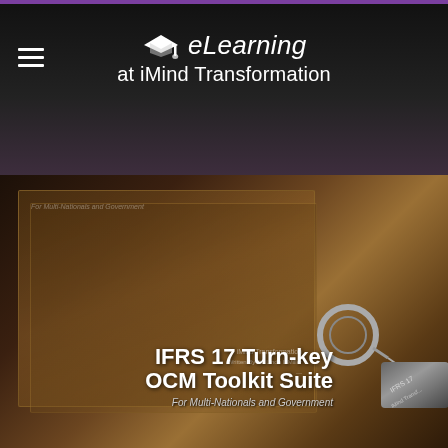eLearning at iMind Transformation
[Figure (photo): Product photo showing IFRS 17 Turn-key OCM Toolkit Suite acrylic box set with USB flash drive keychain, on dark brown background. Text on image reads: IFRS 17 Turn-key OCM Toolkit Suite, For Multi-Nationals and Government]
IFRS 17 and Beyond Transformation Suite
$900.00
[Figure (photo): Partial product photo showing IFRS 17 and Beyond product with dark radiating lines/brush strokes background, partially cropped at bottom of page]